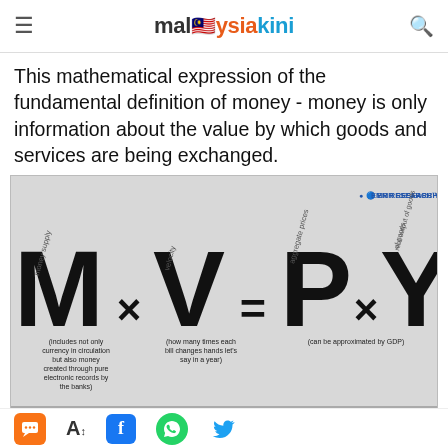malaysiakini
This mathematical expression of the fundamental definition of money - money is only information about the value by which goods and services are being exchanged.
[Figure (infographic): Equation M × V = P × Y illustrated with large bold letters. M = money supply (includes not only currency in circulation but also money created through pure electronic records by the banks), V = velocity (how many times each bill changes hands let's say in a year), P = aggregate prices, Y = real output of goods and services (can be approximated by GDP). EMR Research logo in top right corner.]
Figure 1: Fundamental link between financial and real sectors
It became...
Chat | Font | Facebook | WhatsApp | Twitter